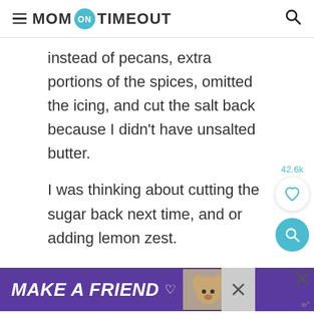MOM ON TIMEOUT
instead of pecans, extra portions of the spices, omitted the icing, and cut the salt back because I didn't have unsalted butter.
I was thinking about cutting the sugar back next time, and or adding lemon zest.
This is a very versatile recipe. You can customize it to what you have on hand.
[Figure (infographic): Purple ad banner at the bottom reading MAKE A FRIEND with a dog photo and close buttons]